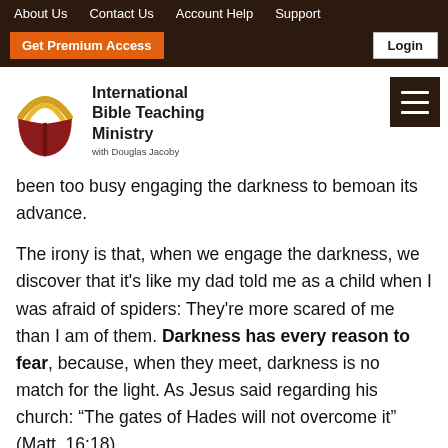About Us   Contact Us   Account Help   Support
Get Premium Access   Login
[Figure (logo): International Bible Teaching Ministry logo with open book and golden arc, with text 'International Bible Teaching Ministry with Douglas Jacoby']
been too busy engaging the darkness to bemoan its advance.
The irony is that, when we engage the darkness, we discover that it's like my dad told me as a child when I was afraid of spiders: They're more scared of me than I am of them. Darkness has every reason to fear, because, when they meet, darkness is no match for the light. As Jesus said regarding his church: “The gates of Hades will not overcome it” (Matt. 16:18).